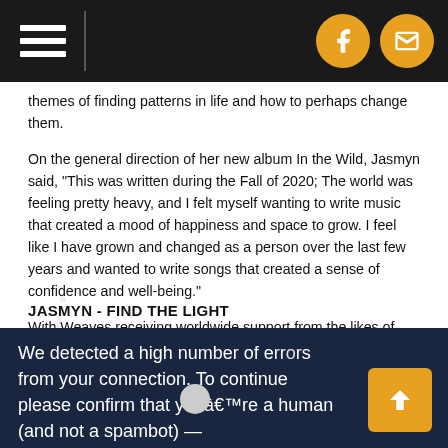[Navigation bar with hamburger menu and social icons]
themes of finding patterns in life and how to perhaps change them.
On the general direction of her new album In the Wild, Jasmyn said, “This was written during the Fall of 2020; The world was feeling pretty heavy, and I felt myself wanting to write music that created a mood of happiness and space to grow. I feel like I have grown and changed as a person over the last few years and wanted to write songs that created a sense of confidence and well-being.”
With Weaves receiving worldwide support from the likes of Rolling Stone Magazine, NPR, Pitchfork, and more, Jasmyn is excited to share a new side of herself, perhaps her most honest and raw work to date.
JASMYN - FIND THE LIGHT
[Figure (screenshot): Dark navy overlay with white text: 'We detected a high number of errors from your connection. To continue please confirm that youâ€™re a human (and not a spambot) —' with an orange scroll-to-top button on the right]